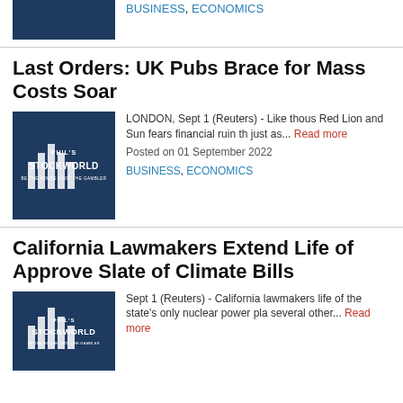[Figure (logo): Phil's StockWorld logo - dark blue background with white stylized bars and text]
BUSINESS, ECONOMICS
Last Orders: UK Pubs Brace for Mass Costs Soar
[Figure (logo): Phil's StockWorld logo - dark blue background with white stylized bars and text]
LONDON, Sept 1 (Reuters) - Like thous Red Lion and Sun fears financial ruin th just as... Read more
Posted on 01 September 2022
BUSINESS, ECONOMICS
California Lawmakers Extend Life of Approve Slate of Climate Bills
[Figure (logo): Phil's StockWorld logo - dark blue background with white stylized bars and text]
Sept 1 (Reuters) - California lawmakers life of the state's only nuclear power pla several other... Read more